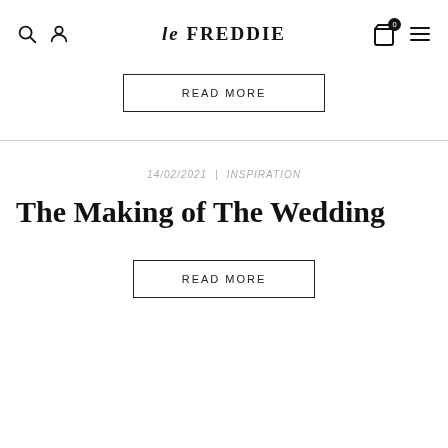le FREDDIE
READ MORE
14/02/2021 | INSPIRATION
The Making of The Wedding
READ MORE